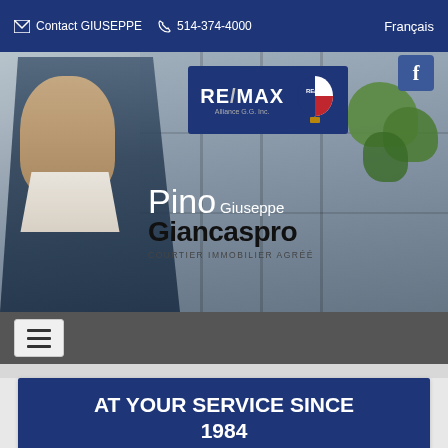Contact GIUSEPPE  514-374-4000  Français
[Figure (photo): Hero banner showing real estate agent Pino Giuseppe Giancaspro in a blue suit with arms crossed, with a modern building background and green plants. RE/MAX Alliance G.G. Inc. logo in upper right of banner. Agent name displayed as 'Pino Giuseppe Giancaspro – Courtier Immobilier Agréé'.]
AT YOUR SERVICE SINCE 1984